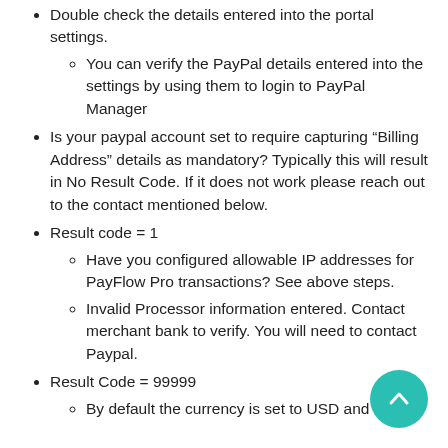Double check the details entered into the portal settings.
You can verify the PayPal details entered into the settings by using them to login to PayPal Manager
Is your paypal account set to require capturing “Billing Address” details as mandatory? Typically this will result in No Result Code. If it does not work please reach out to the contact mentioned below.
Result code = 1
Have you configured allowable IP addresses for PayFlow Pro transactions? See above steps.
Invalid Processor information entered. Contact merchant bank to verify. You will need to contact Paypal.
Result Code = 99999
By default the currency is set to USD and